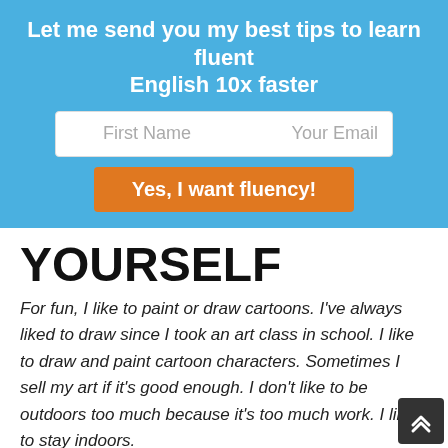Let me send you my best tips to learn fluent English 10x faster
[Figure (screenshot): Email signup form with First Name and Your Email input fields]
[Figure (screenshot): Orange button labeled Yes, I want fluency!]
YOURSELF
For fun, I like to paint or draw cartoons. I've always liked to draw since I took an art class in school. I like to draw and paint cartoon characters. Sometimes I sell my art if it's good enough. I don't like to be outdoors too much because it's too much work. I like to stay indoors.
Talking about hobbies is the easiest way to get to know someone and to practice your